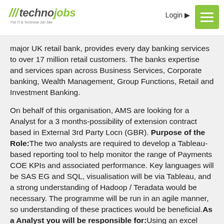technojobs | Login | Menu
major UK retail bank, provides every day banking services to over 17 million retail customers. The banks expertise and services span across Business Services, Corporate banking, Wealth Management, Group Functions, Retail and Investment Banking.
On behalf of this organisation, AMS are looking for a Analyst for a 3 months-possibility of extension contract based in External 3rd Party Locn (GBR). Purpose of the Role:The two analysts are required to develop a Tableau-based reporting tool to help monitor the range of Payments COE KPIs and associated performance. Key languages will be SAS EG and SQL, visualisation will be via Tableau, and a strong understanding of Hadoop / Teradata would be necessary. The programme will be run in an agile manner, so understanding of these practices would be beneficial.As a Analyst you will be responsible for:Using an excel based dashboard currently that's been setup and the inputs are very manual. Taking data and plugging them into excel.We need to go to the source data and code up the metrics for Tableau to receive that but also build a good version of the data. The table should look...